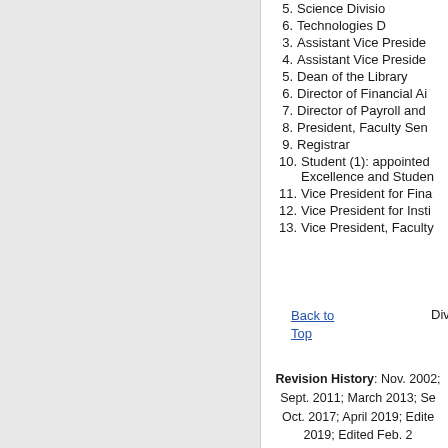5. Science Division
6. Technologies D
3. Assistant Vice Preside
4. Assistant Vice Preside
5. Dean of the Library
6. Director of Financial Ai
7. Director of Payroll and
8. President, Faculty Sen
9. Registrar
10. Student (1): appointed Excellence and Studen
11. Vice President for Fina
12. Vice President for Insti
13. Vice President, Faculty
Back to Top
Divisional Re
Revision History: Nov. 2002; Sept. 2011; March 2013; Sept. Oct. 2017; April 2019; Edited 2019; Edited Feb. 2